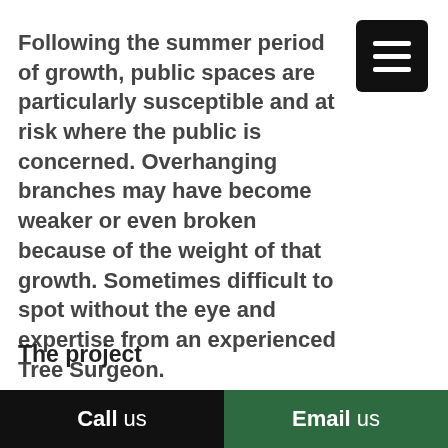Following the summer period of growth, public spaces are particularly susceptible and at risk where the public is concerned. Overhanging branches may have become weaker or even broken because of the weight of that growth. Sometimes difficult to spot without the eye and expertise from an experienced Tree Surgeon.
The project
It is very common for Elite Trees to be called by concerned individuals about a particular tree which could be a hazard in a well used public space. Public parks in particular with their large areas of land...
Call us   Email us